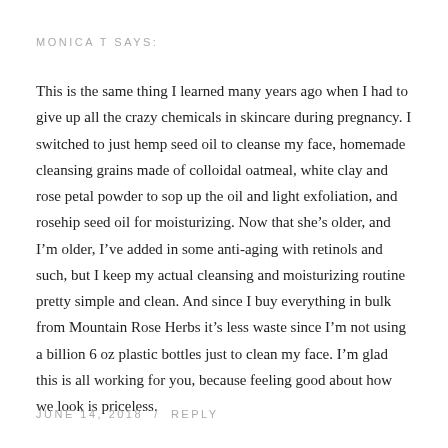MONICA T SAYS:
This is the same thing I learned many years ago when I had to give up all the crazy chemicals in skincare during pregnancy. I switched to just hemp seed oil to cleanse my face, homemade cleansing grains made of colloidal oatmeal, white clay and rose petal powder to sop up the oil and light exfoliation, and rosehip seed oil for moisturizing. Now that she’s older, and I’m older, I’ve added in some anti-aging with retinols and such, but I keep my actual cleansing and moisturizing routine pretty simple and clean. And since I buy everything in bulk from Mountain Rose Herbs it’s less waste since I’m not using a billion 6 oz plastic bottles just to clean my face. I’m glad this is all working for you, because feeling good about how we look is priceless.
JUNE 14, 2018  /  REPLY